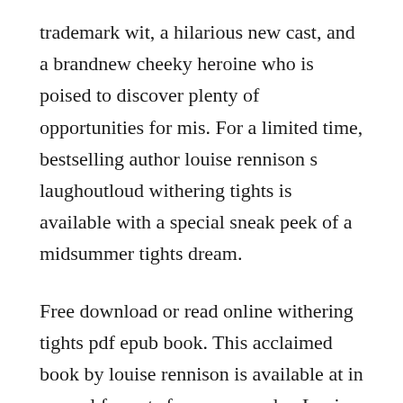trademark wit, a hilarious new cast, and a brandnew cheeky heroine who is poised to discover plenty of opportunities for mis. For a limited time, bestselling author louise rennison s laughoutloud withering tights is available with a special sneak peek of a midsummer tights dream.
Free download or read online withering tights pdf epub book. This acclaimed book by louise rennison is available at in several formats for your ereader. Louise rennison was one of the most popular and award winning author from